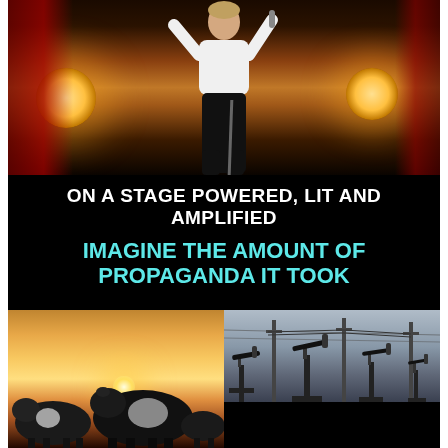[Figure (photo): Person performing on stage with microphone, wearing white shirt, with bright stage lights on both sides and red curtain in background]
ON A STAGE POWERED, LIT AND AMPLIFIED WITH MASSIVE DIESEL GENERATORS
IMAGINE THE AMOUNT OF PROPAGANDA IT TOOK
[Figure (photo): Left: Cows standing in a field at sunset with golden light. Top-right: Oil pump jacks silhouetted against overcast sky. Bottom-right: Industrial facility or factory scene.]